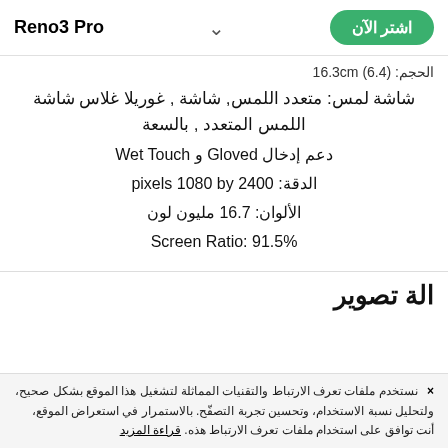Reno3 Pro | اشتر الآن
الحجم: (6.4) 16.3cm
شاشة لمس: متعدد اللمس, شاشة , غوريلا غلاس شاشة اللمس المتعدد , بالسعة
دعم إدخال Gloved و Wet Touch
الدقة: 2400 pixels 1080 by
الألوان: 16.7 مليون لون
Screen Ratio: 91.5%
الة تصوير
× نستخدم ملفات تعرف الارتباط والتقنيات المماثلة لتشغيل هذا الموقع بشكل صحيح، ولتحليل نسبة الاستخدام، وتحسين تجربة التصفّح. بالاستمرار في استعراض الموقع، أنت توافق على استخدام ملفات تعرف الارتباط هذه. قراءة المزيد